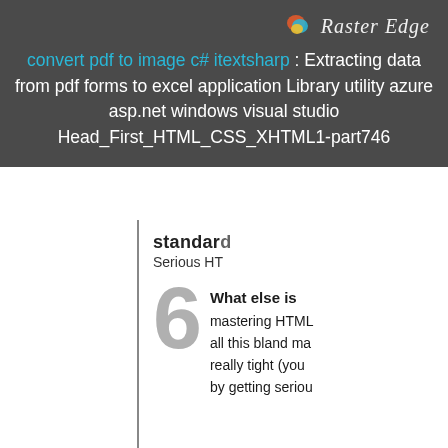[Figure (logo): Raster Edge logo with colorful swirl icon and italic text 'Raster Edge']
convert pdf to image c# itextsharp : Extracting data from pdf forms to excel application Library utility azure asp.net windows visual studio Head_First_HTML_CSS_XHTML1-part746
standard
Serious HT
6
What else is
mastering HTML
all this bland ma
really tight (you
by getting seriou